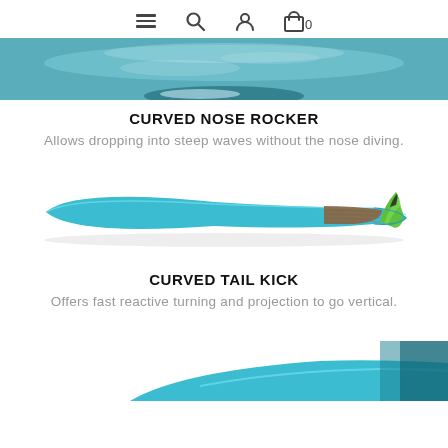Navigation icons: menu, search, user, cart (0)
[Figure (photo): Close-up photo of a surfboard nose touching water with teal/ocean background, cropped view]
CURVED NOSE ROCKER
Allows dropping into steep waves without the nose diving.
[Figure (photo): Side profile view of a blue/teal surfboard with green fins and brown wood accent, shown horizontally]
CURVED TAIL KICK
Offers fast reactive turning and projection to go vertical.
[Figure (photo): Partial view of another surfboard section, cropped at bottom of page, teal color visible]